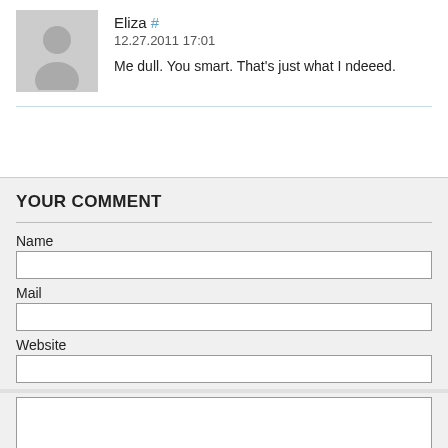[Figure (illustration): Grey default user avatar silhouette in a light grey square with border]
Eliza #
12.27.2011 17:01
Me dull. You smart. That's just what I ndeeed.
YOUR COMMENT
Name
Mail
Website